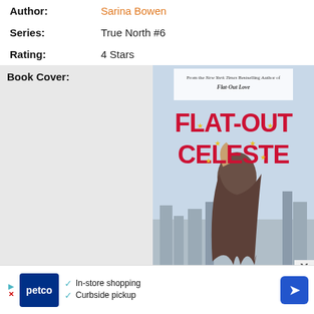Author: Sarina Bowen
Series: True North #6
Rating: 4 Stars
Book Cover:
[Figure (illustration): Book cover for 'Flat-Out Celeste' by Sarina Bowen. Large red bold text 'FLAT-OUT CELESTE' with gold star decorations, tagline 'From the New York Times Bestselling Author of Flat-Out Love', woman with long hair seen from behind against city skyline.]
[Figure (other): Petco advertisement banner with Petco logo, checkmarks listing 'In-store shopping' and 'Curbside pickup', and a blue navigation/map icon.]